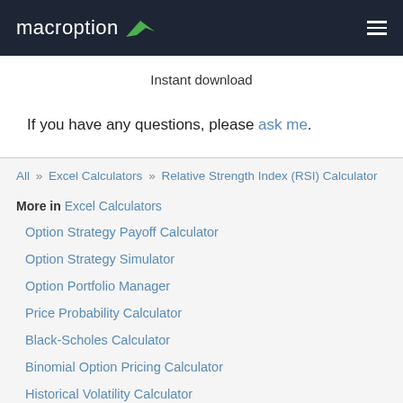macroption
Instant download
If you have any questions, please ask me.
All » Excel Calculators » Relative Strength Index (RSI) Calculator
More in Excel Calculators
Option Strategy Payoff Calculator
Option Strategy Simulator
Option Portfolio Manager
Price Probability Calculator
Black-Scholes Calculator
Binomial Option Pricing Calculator
Historical Volatility Calculator